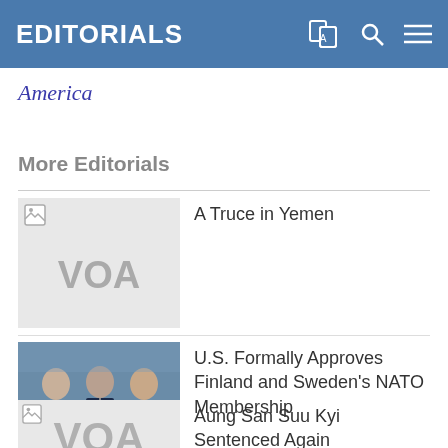EDITORIALS
America
More Editorials
A Truce in Yemen
U.S. Formally Approves Finland and Sweden's NATO Membership
Aung San Suu Kyi Sentenced Again